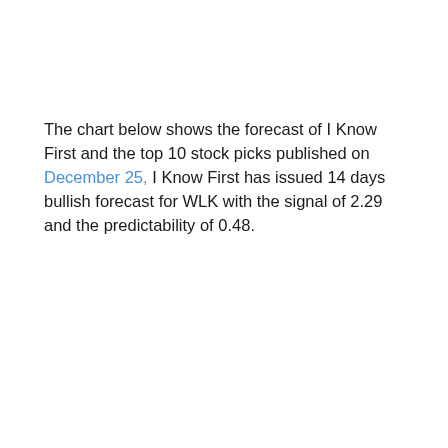The chart below shows the forecast of I Know First and the top 10 stock picks published on December 25, I Know First has issued 14 days bullish forecast for WLK with the signal of 2.29 and the predictability of 0.48.